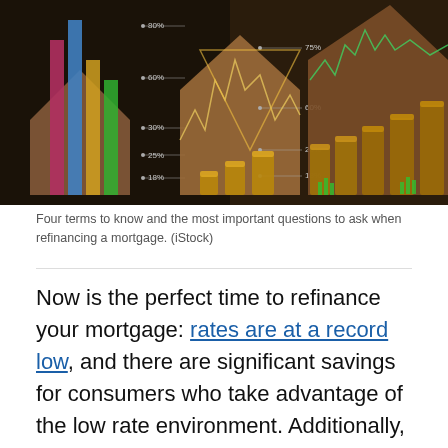[Figure (photo): A composite financial image featuring bar charts with percentage labels (80%, 75%, 60%, 40%, 30%, 20%, 25%, 18%), house-shaped cardboard cutouts, stacks of coins increasing in height from left to right, and a stock market line chart overlay on a dark background.]
Four terms to know and the most important questions to ask when refinancing a mortgage. (iStock)
Now is the perfect time to refinance your mortgage: rates are at a record low, and there are significant savings for consumers who take advantage of the low rate environment. Additionally, with future uncertainty surrounding the end of the coronavirus pandemic, many Americans are looking for a way to reduce